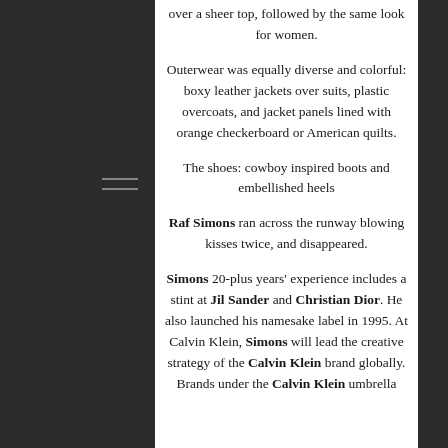over a sheer top, followed by the same look for women.
Outerwear was equally diverse and colorful: boxy leather jackets over suits, plastic overcoats, and jacket panels lined with orange checkerboard or American quilts.
The shoes: cowboy inspired boots and embellished heels
Raf Simons ran across the runway blowing kisses twice, and disappeared.
Simons 20-plus years' experience includes a stint at Jil Sander and Christian Dior. He also launched his namesake label in 1995. At Calvin Klein, Simons will lead the creative strategy of the Calvin Klein brand globally. Brands under the Calvin Klein umbrella